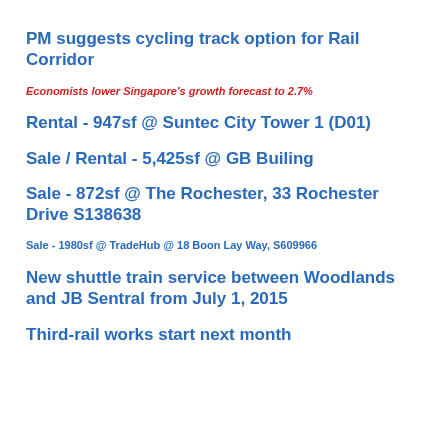PM suggests cycling track option for Rail Corridor
Economists lower Singapore's growth forecast to 2.7%
Rental - 947sf @ Suntec City Tower 1 (D01)
Sale / Rental - 5,425sf @ GB Builing
Sale - 872sf @ The Rochester, 33 Rochester Drive S138638
Sale - 1980sf @ TradeHub @ 18 Boon Lay Way, S609966
New shuttle train service between Woodlands and JB Sentral from July 1, 2015
Third-rail works start next month